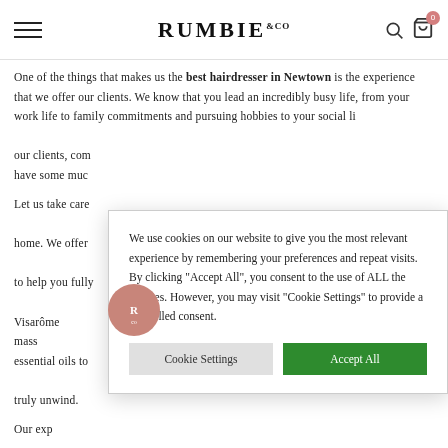RUMBIE & CO
One of the things that makes us the best hairdresser in Newtown is the experience that we offer our clients. We know that you lead an incredibly busy life, from your work life to family commitments and pursuing hobbies to your social li... our clients, com... have some muc...
Let us take care... home. We offer... to help you fully... Visarôme massa... essential oils to... truly unwind.
We use cookies on our website to give you the most relevant experience by remembering your preferences and repeat visits. By clicking "Accept All", you consent to the use of ALL the cookies. However, you may visit "Cookie Settings" to provide a controlled consent.
Our exp... place a huge amount of importance on consultations. During a consultation, you will get to know...